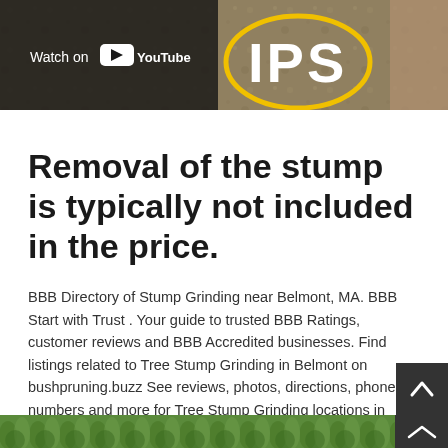[Figure (screenshot): YouTube video thumbnail banner showing 'Watch on YouTube' overlay with YouTube play button icon on left side, and 'IPS' text with yellow outline on right side over sandy/earthy background]
Removal of the stump is typically not included in the price.
BBB Directory of Stump Grinding near Belmont, MA. BBB Start with Trust . Your guide to trusted BBB Ratings, customer reviews and BBB Accredited businesses. Find listings related to Tree Stump Grinding in Belmont on bushpruning.buzz See reviews, photos, directions, phone numbers and more for Tree Stump Grinding locations in Belmont, MA.
Carl's Tree Removal. Stump Removal & Grinding.
[Figure (photo): Bottom partial image showing green foliage/trees]